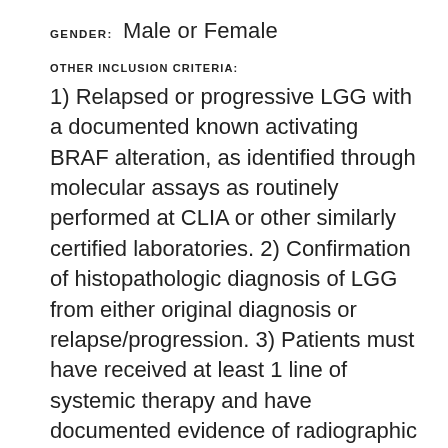GENDER: Male or Female
OTHER INCLUSION CRITERIA:
1) Relapsed or progressive LGG with a documented known activating BRAF alteration, as identified through molecular assays as routinely performed at CLIA or other similarly certified laboratories. 2) Confirmation of histopathologic diagnosis of LGG from either original diagnosis or relapse/progression. 3) Patients must have received at least 1 line of systemic therapy and have documented evidence of radiographic progression.
You may not be eligible for this